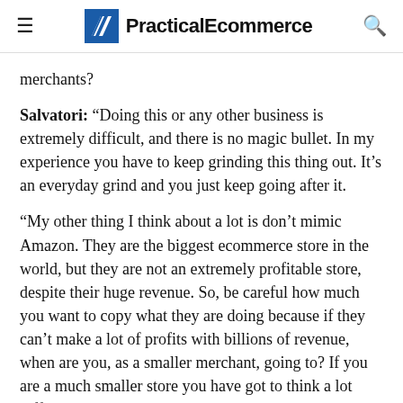PracticalEcommerce
merchants?
Salvatori: “Doing this or any other business is extremely difficult, and there is no magic bullet. In my experience you have to keep grinding this thing out. It’s an everyday grind and you just keep going after it.
“My other thing I think about a lot is don’t mimic Amazon. They are the biggest ecommerce store in the world, but they are not an extremely profitable store, despite their huge revenue. So, be careful how much you want to copy what they are doing because if they can’t make a lot of profits with billions of revenue, when are you, as a smaller merchant, going to? If you are a much smaller store you have got to think a lot differently than what they do.”